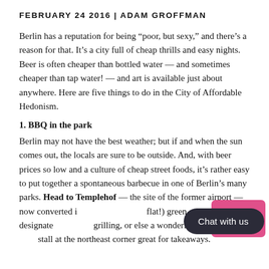FEBRUARY 24 2016 | ADAM GROFFMAN
Berlin has a reputation for being “poor, but sexy,” and there’s a reason for that. It’s a city full of cheap thrills and easy nights. Beer is often cheaper than bottled water — and sometimes cheaper than tap water! — and art is available just about anywhere. Here are five things to do in the City of Affordable Hedonism.
1. BBQ in the park
Berlin may not have the best weather; but if and when the sun comes out, the locals are sure to be outside. And, with beer prices so low and a culture of cheap street foods, it’s rather easy to put together a spontaneous barbecue in one of Berlin’s many parks. Head to Templehof — the site of the former airport — now converted i… …d flat!) green space. There are designate… grilling, or else a wonderful, little Kore… …stall at the northeast corner great for takeaways.